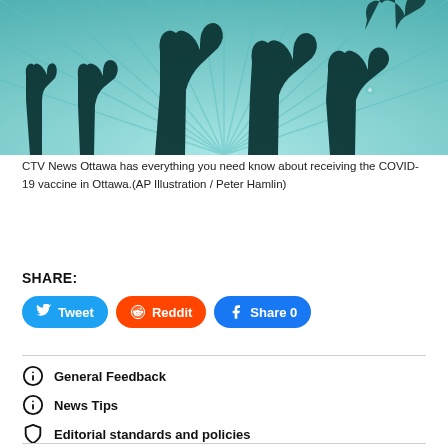[Figure (illustration): Silhouette illustration of multiple hands reaching upward against a teal/mint colored radiating background with star-like shapes]
CTV News Ottawa has everything you need know about receiving the COVID-19 vaccine in Ottawa.(AP Illustration / Peter Hamlin)
SHARE:
Tweet
Reddit
Share 0
General Feedback
News Tips
Editorial standards and policies
Why you can trust CTV News